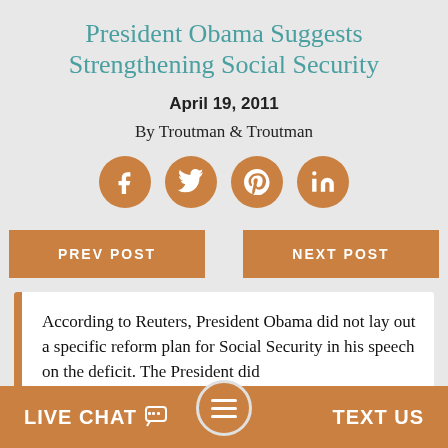President Obama Suggests Strengthening Social Security
April 19, 2011
By Troutman & Troutman
[Figure (infographic): Four social media share buttons (Facebook, Twitter, Pinterest, LinkedIn) as brown circles with white icons]
PREV POST
NEXT POST
According to Reuters, President Obama did not lay out a specific reform plan for Social Security in his speech on the deficit. The President did
LIVE CHAT  TEXT US